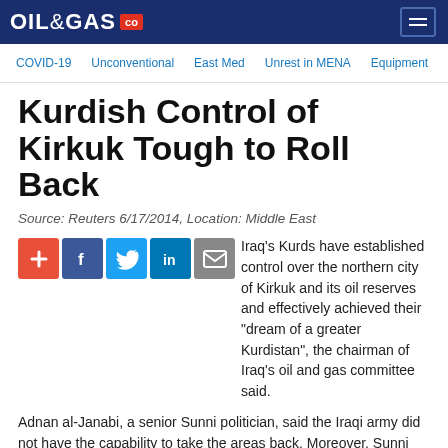OIL&GAS .com
COVID-19   Unconventional   East Med   Unrest in MENA   Equipment
Kurdish Control of Kirkuk Tough to Roll Back
Source: Reuters 6/17/2014, Location: Middle East
[Figure (infographic): Social sharing icons: plus, Facebook, Twitter, LinkedIn, Email]
Iraq's Kurds have established control over the northern city of Kirkuk and its oil reserves and effectively achieved their "dream of a greater Kurdistan", the chairman of Iraq's oil and gas committee said.
Adnan al-Janabi, a senior Sunni politician, said the Iraqi army did not have the capability to take the areas back. Moreover, Sunni Arab rebels that have taken Mosul and pushed towards Baghdad appeared to be focused elsewhere.